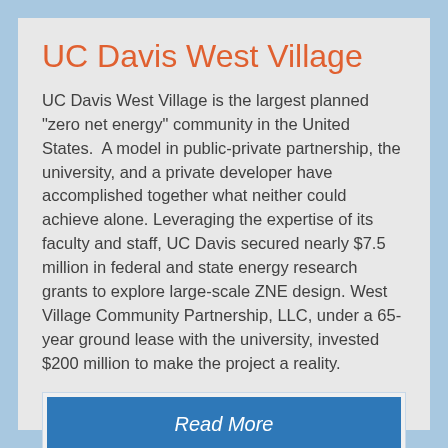UC Davis West Village
UC Davis West Village is the largest planned "zero net energy" community in the United States.  A model in public-private partnership, the university, and a private developer have accomplished together what neither could achieve alone. Leveraging the expertise of its faculty and staff, UC Davis secured nearly $7.5 million in federal and state energy research grants to explore large-scale ZNE design. West Village Community Partnership, LLC, under a 65-year ground lease with the university, invested $200 million to make the project a reality.
Read More